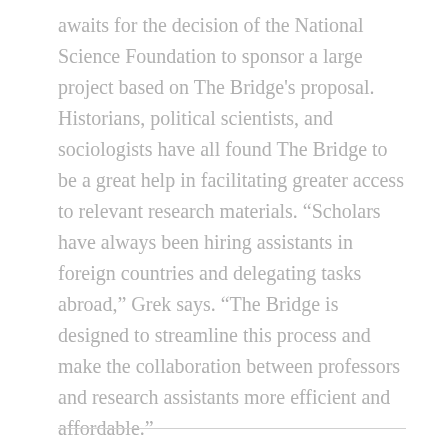awaits for the decision of the National Science Foundation to sponsor a large project based on The Bridge's proposal. Historians, political scientists, and sociologists have all found The Bridge to be a great help in facilitating greater access to relevant research materials. “Scholars have always been hiring assistants in foreign countries and delegating tasks abroad,” Grek says. “The Bridge is designed to streamline this process and make the collaboration between professors and research assistants more efficient and affordable.”